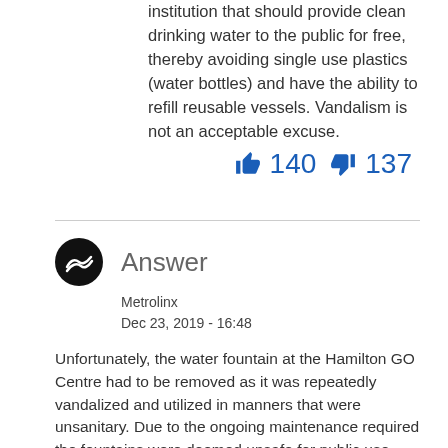institution that should provide clean drinking water to the public for free, thereby avoiding single use plastics (water bottles) and have the ability to refill reusable vessels. Vandalism is not an acceptable excuse.
👍 140 👎 137
Answer
Metrolinx
Dec 23, 2019 - 16:48
Unfortunately, the water fountain at the Hamilton GO Centre had to be removed as it was repeatedly vandalized and utilized in manners that were unsanitary. Due to the ongoing maintenance required the fountains were deemed unsafe for public use. We take the safety of our customers and staff as i...